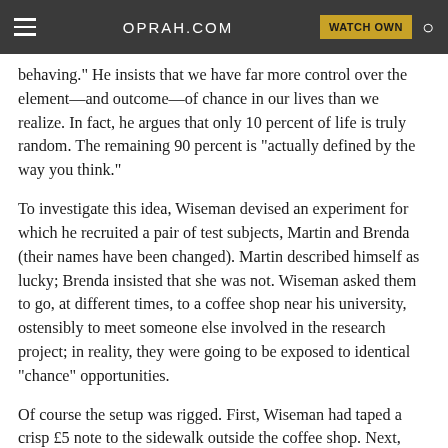OPRAH.COM  WATCH OWN
behaving." He insists that we have far more control over the element—and outcome—of chance in our lives than we realize. In fact, he argues that only 10 percent of life is truly random. The remaining 90 percent is "actually defined by the way you think."
To investigate this idea, Wiseman devised an experiment for which he recruited a pair of test subjects, Martin and Brenda (their names have been changed). Martin described himself as lucky; Brenda insisted that she was not. Wiseman asked them to go, at different times, to a coffee shop near his university, ostensibly to meet someone else involved in the research project; in reality, they were going to be exposed to identical "chance" opportunities.
Of course the setup was rigged. First, Wiseman had taped a crisp £5 note to the sidewalk outside the coffee shop. Next, he'd planted actors at each of the four tables inside. One of the plants was a "millionaire"; the others were not. Each was instructed to behave in exactly the same way.
Walking up to the shop, Martin immediately spotted the